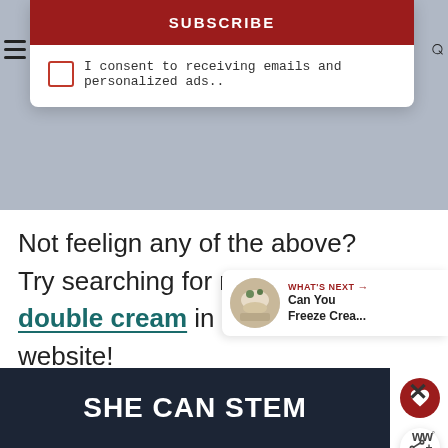[Figure (screenshot): Subscribe button (dark red/maroon background, white bold uppercase text 'SUBSCRIBE') at top of dropdown card]
I consent to receiving emails and personalized ads..
Not feelign any of the above? Try searching for recipes with double cream in them on my website!
[Figure (screenshot): What's Next panel with food image thumbnail and text 'WHAT'S NEXT → Can You Freeze Crea...']
[Figure (screenshot): Bottom advertisement banner with dark navy background and white bold text 'SHE CAN STEM']